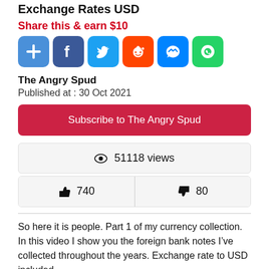Exchange Rates USD
Share this & earn $10
[Figure (illustration): Social share icons: Add (+), Facebook, Twitter, Reddit, Messenger, WhatsApp]
The Angry Spud
Published at : 30 Oct 2021
Subscribe to The Angry Spud
👁 51118 views
👍 740    👎 80
So here it is people. Part 1 of my currency collection. In this video I show you the foreign bank notes I've collected throughout the years. Exchange rate to USD included.
Foreign Bank Notes in this video: Bolivian Bolivianos